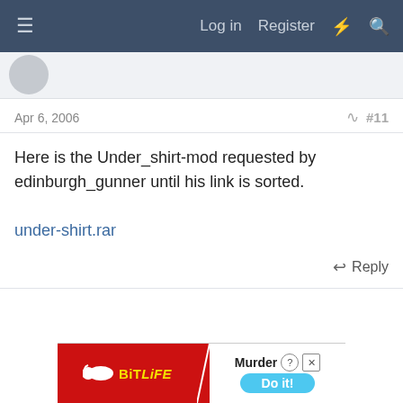≡  Log in  Register  ⚡  🔍
Apr 6, 2006   #11
Here is the Under_shirt-mod requested by edinburgh_gunner until his link is sorted.

under-shirt.rar
Reply
[Figure (screenshot): BitLife advertisement banner at bottom of page showing red background with BitLife logo on left and 'Murder Do it!' on right with close/help buttons]